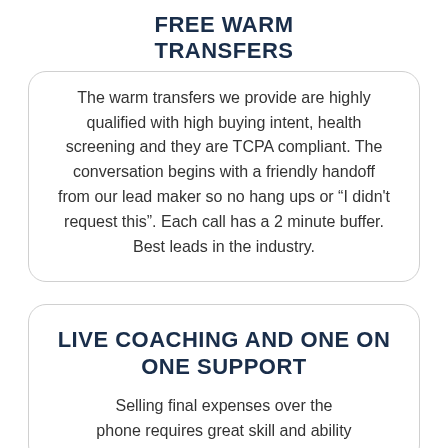FREE WARM TRANSFERS
The warm transfers we provide are highly qualified with high buying intent, health screening and they are TCPA compliant. The conversation begins with a friendly handoff from our lead maker so no hang ups or “I didn't request this”. Each call has a 2 minute buffer. Best leads in the industry.
LIVE COACHING AND ONE ON ONE SUPPORT
Selling final expenses over the phone requires great skill and ability